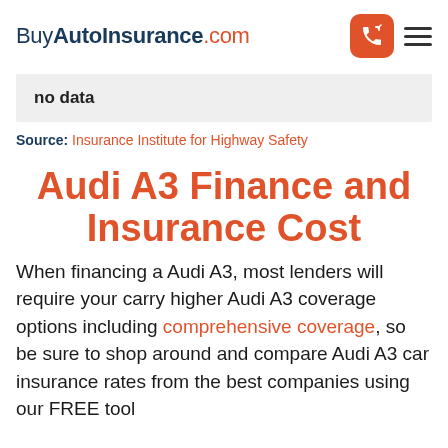BuyAutoInsurance.com
no data
Source: Insurance Institute for Highway Safety
Audi A3 Finance and Insurance Cost
When financing a Audi A3, most lenders will require your carry higher Audi A3 coverage options including comprehensive coverage, so be sure to shop around and compare Audi A3 car insurance rates from the best companies using our FREE tool